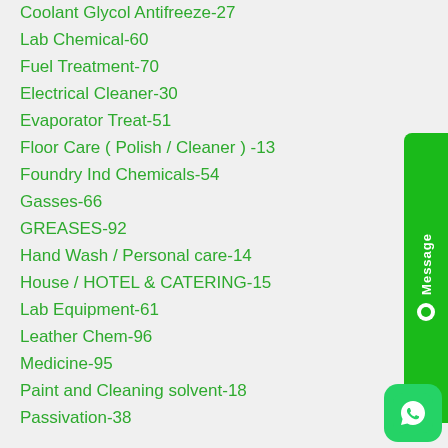Coolant Glycol Antifreeze-27
Lab Chemical-60
Fuel Treatment-70
Electrical Cleaner-30
Evaporator Treat-51
Floor Care ( Polish / Cleaner ) -13
Foundry Ind Chemicals-54
Gasses-66
GREASES-92
Hand Wash / Personal care-14
House / HOTEL & CATERING-15
Lab Equipment-61
Leather Chem-96
Medicine-95
Paint and Cleaning solvent-18
Passivation-38
[Figure (other): Green Message widget button on right side]
[Figure (other): WhatsApp green button bottom right]